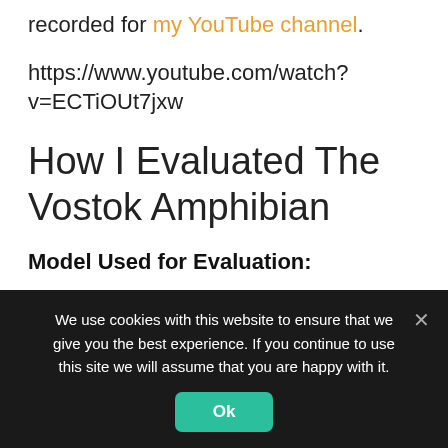recorded for my YouTube channel.
https://www.youtube.com/watch?v=ECTiOUt7jxw
How I Evaluated The Vostok Amphibian
Model Used for Evaluation:
Vostok Amphibian (Radio Room Dial) – Case 110 – Movement 2415 – Reference
We use cookies with this website to ensure that we give you the best experience. If you continue to use this site we will assume that you are happy with it.